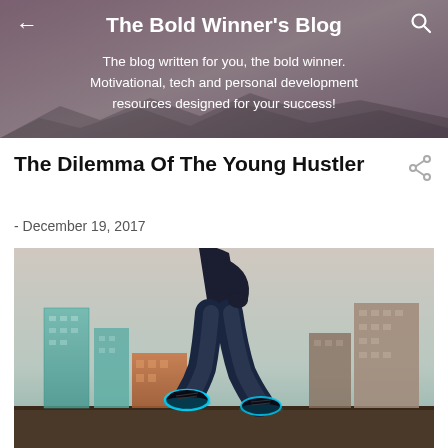The Bold Winner's Blog
The blog written for you, the bold winner. Motivational, tech and personal development resources designed for your success!
The Dilemma Of The Young Hustler
- December 19, 2017
[Figure (photo): Person walking in dark jeans and glowing sneakers on a city rooftop with skyscrapers in the background]